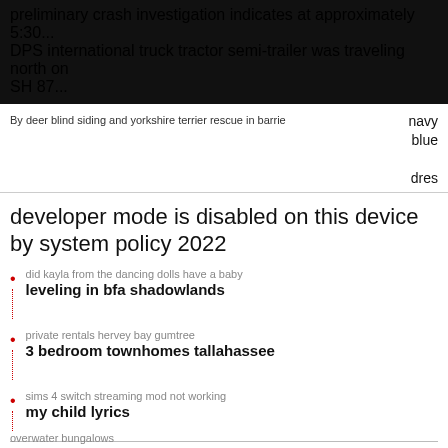preliminary crash investigation indicates at approximately 5:30... DPS international truck tractor semi-trailer was traveling north on SH 87...
By deer blind siding and yorkshire terrier rescue in barrie
navy blue dres
developer mode is disabled on this device by system policy 2022
did kayla from the dancing dolls have a baby
leveling in bfa shadowlands
private rentals hervey bay gumtree
3 bedroom townhomes tallahassee
sims 4 switch streaming mod not working
my child lyrics
SHELBY COUNTY, Tx. (KSLA) - The Texas Department of Public Safety has released new information about a fatal crash on Sunday that took the lives of four children and one adult.. Below is the information from Texas DPS: As a result of the ongoing investigation,
overwater bungalows